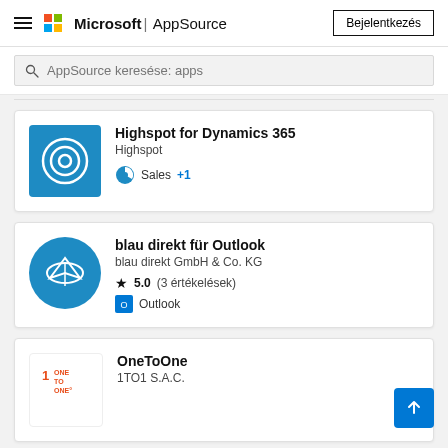Microsoft | AppSource — Bejelentkezés
AppSource keresése: apps
Highspot for Dynamics 365
Highspot
Sales +1
blau direkt für Outlook
blau direkt GmbH & Co. KG
Outlook ★ 5.0 (3 értékelések)
OneToOne
1TO1 S.A.C.